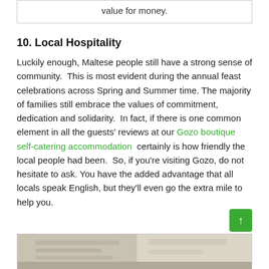value for money.
10. Local Hospitality
Luckily enough, Maltese people still have a strong sense of community.  This is most evident during the annual feast celebrations across Spring and Summer time. The majority of families still embrace the values of commitment, dedication and solidarity.  In fact, if there is one common element in all the guests' reviews at our Gozo boutique self-catering accommodation  certainly is how friendly the local people had been.  So, if you're visiting Gozo, do not hesitate to ask. You have the added advantage that all locals speak English, but they'll even go the extra mile to help you.
[Figure (photo): Partial view of a photo at the bottom of the page, appears to show currency/money on a surface]